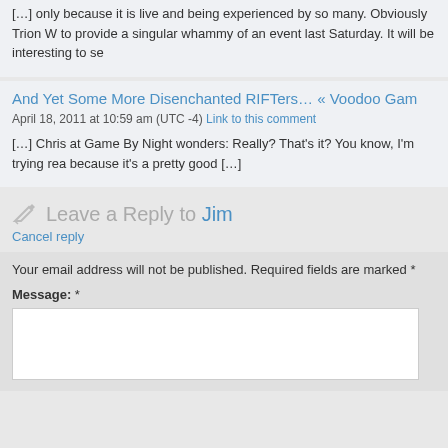[…] only because it is live and being experienced by so many. Obviously Trion W to provide a singular whammy of an event last Saturday. It will be interesting to se
And Yet Some More Disenchanted RIFTers… « Voodoo Gam
April 18, 2011 at 10:59 am (UTC -4) Link to this comment
[…] Chris at Game By Night wonders: Really? That's it? You know, I'm trying rea because it's a pretty good […]
Leave a Reply to Jim
Cancel reply
Your email address will not be published. Required fields are marked *
Message: *